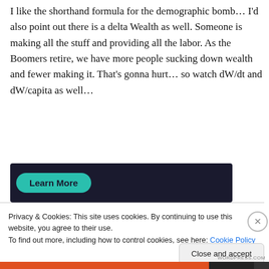I like the shorthand formula for the demographic bomb… I'd also point out there is a delta Wealth as well. Someone is making all the stuff and providing all the labor. As the Boomers retire, we have more people sucking down wealth and fewer making it. That's gonna hurt… so watch dW/dt and dW/capita as well…
[Figure (other): Dark banner with a teal 'Learn More' button]
Privacy & Cookies: This site uses cookies. By continuing to use this website, you agree to their use.
To find out more, including how to control cookies, see here: Cookie Policy
Close and accept